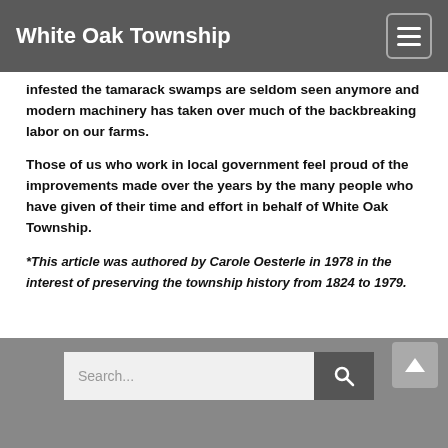White Oak Township
infested the tamarack swamps are seldom seen anymore and modern machinery has taken over much of the backbreaking labor on our farms.
Those of us who work in local government feel proud of the improvements made over the years by the many people who have given of their time and effort in behalf of White Oak Township.
*This article was authored by Carole Oesterle in 1978 in the interest of preserving the township history from 1824 to 1979.